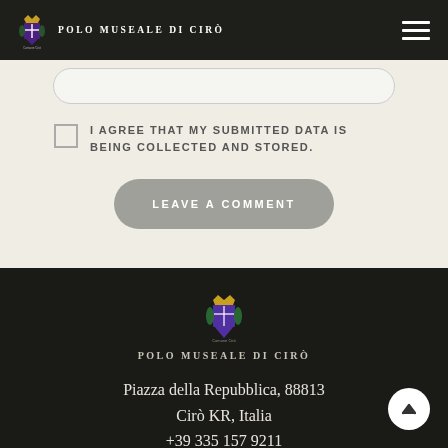Polo Museale di Cirò
I AGREE THAT MY SUBMITTED DATA IS BEING COLLECTED AND STORED.
LEAVE A COMMENT
[Figure (logo): Polo Museale di Cirò logo with coat of arms in footer]
Piazza della Repubblica, 88813 Cirò KR, Italia +39 335 157 9211